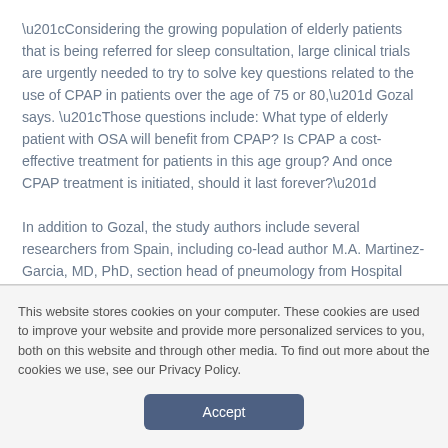“Considering the growing population of elderly patients that is being referred for sleep consultation, large clinical trials are urgently needed to try to solve key questions related to the use of CPAP in patients over the age of 75 or 80,” Gozal says. “Those questions include: What type of elderly patient with OSA will benefit from CPAP? Is CPAP a cost-effective treatment for patients in this age group? And once CPAP treatment is initiated, should it last forever?”
In addition to Gozal, the study authors include several researchers from Spain, including co-lead author M.A. Martinez-Garcia, MD, PhD, section head of pneumology from Hospital Universitario and Politenico La Fe in Valencia.
This website stores cookies on your computer. These cookies are used to improve your website and provide more personalized services to you, both on this website and through other media. To find out more about the cookies we use, see our Privacy Policy.